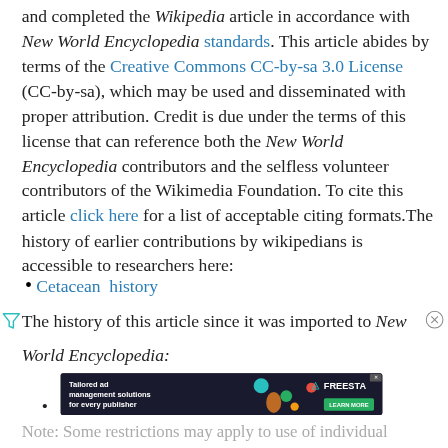and completed the Wikipedia article in accordance with New World Encyclopedia standards. This article abides by terms of the Creative Commons CC-by-sa 3.0 License (CC-by-sa), which may be used and disseminated with proper attribution. Credit is due under the terms of this license that can reference both the New World Encyclopedia contributors and the selfless volunteer contributors of the Wikimedia Foundation. To cite this article click here for a list of acceptable citing formats.The history of earlier contributions by wikipedians is accessible to researchers here:
Cetacean  history
The history of this article since it was imported to New World Encyclopedia:
[Figure (other): Advertisement banner: Tailored ad management solutions for every publisher - Freesta]
Note: Some restrictions may apply to use of individual images which are separately licensed.